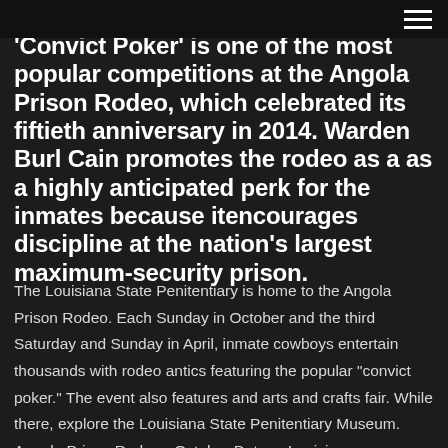≡
'Convict Poker' is one of the most popular competitions at the Angola Prison Rodeo, which celebrated its fiftieth anniversary in 2014. Warden Burl Cain promotes the rodeo as a as a highly anticipated perk for the inmates because itencourages discipline at the nation's largest maximum-security prison.
The Louisiana State Penitentiary is home to the Angola Prison Rodeo. Each Sunday in October and the third Saturday and Sunday in April, inmate cowboys entertain thousands with rodeo antics featuring the popular "convict poker." The event also features and arts and crafts fair. While there, explore the Louisiana State Penitentiary Museum. Angola Prison Rodeo - October Dates - Louisiana